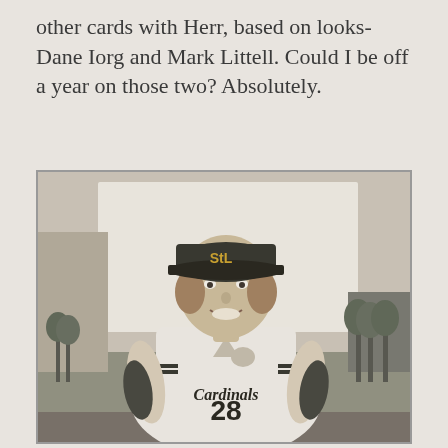other cards with Herr, based on looks- Dane Iorg and Mark Littell.  Could I be off a year on those two?  Absolutely.
[Figure (photo): Black and white photograph of a St. Louis Cardinals baseball player wearing jersey number 28, smiling at the camera. He is wearing a Cardinals cap with the STL logo and a white Cardinals uniform with 'Cardinals' written across the chest and a cardinal bird logo. Background shows a baseball field and some trees.]